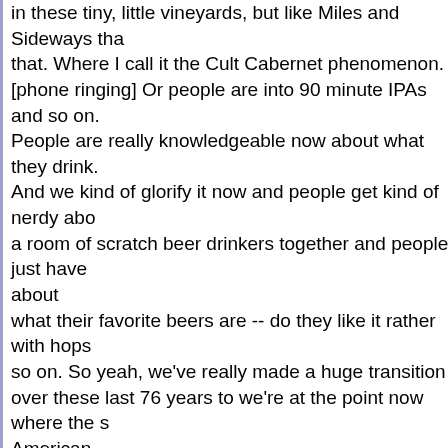in these tiny, little vineyards, but like Miles and Sideways that. Where I call it the Cult Cabernet phenomenon. [phone ringing] Or people are into 90 minute IPAs and so on. People are really knowledgeable now about what they drink. And we kind of glorify it now and people get kind of nerdy about a room of scratch beer drinkers together and people just have about what their favorite beers are -- do they like it rather with hops so on. So yeah, we've really made a huge transition over these last 76 years to we're at the point now where the s American society. And I think we are in fact a drinking nation once again. So this is one of the few academic slides I'll put here in today's presentation. This is really interesting h This is the Gallup survey. They've done this survey almost ev since 1939. There's a couple gaps during World War II and so on. But yeah, it really shows the case of two-thirds of American adults 18 and older drink alcohol. That's pretty si In the survey they took here in 2009, it was 64 percent, versu who abstain. So clearly not every American drinks, nor